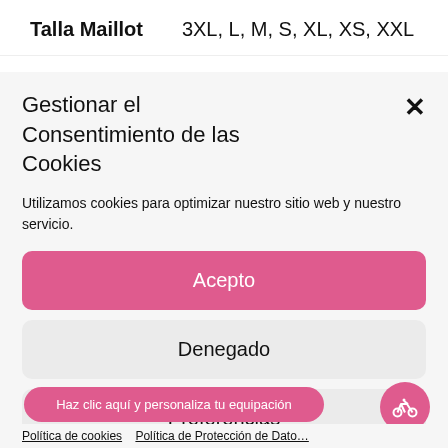Talla Maillot    3XL, L, M, S, XL, XS, XXL
Gestionar el Consentimiento de las Cookies
Utilizamos cookies para optimizar nuestro sitio web y nuestro servicio.
Acepto
Denegado
Preferencias
Haz clic aquí y personaliza tu equipación
Política de cookies   Política de Protección de Datos